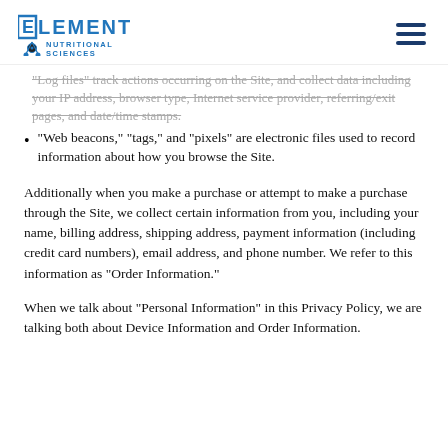ELEMENT NUTRITIONAL SCIENCES
"Log files" track actions occurring on the Site, and collect data including your IP address, browser type, Internet service provider, referring/exit pages, and date/time stamps.
"Web beacons," "tags," and "pixels" are electronic files used to record information about how you browse the Site.
Additionally when you make a purchase or attempt to make a purchase through the Site, we collect certain information from you, including your name, billing address, shipping address, payment information (including credit card numbers), email address, and phone number. We refer to this information as “Order Information.”
When we talk about “Personal Information” in this Privacy Policy, we are talking both about Device Information and Order Information.